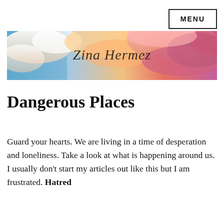MENU
[Figure (illustration): Banner image showing a dramatic sky with colorful clouds in blue, pink, orange, and purple tones. Cursive text reads 'Zina Hermez' overlaid on the clouds.]
Dangerous Places
Guard your hearts. We are living in a time of desperation and loneliness. Take a look at what is happening around us. I usually don't start my articles out like this but I am frustrated. Hatred and…